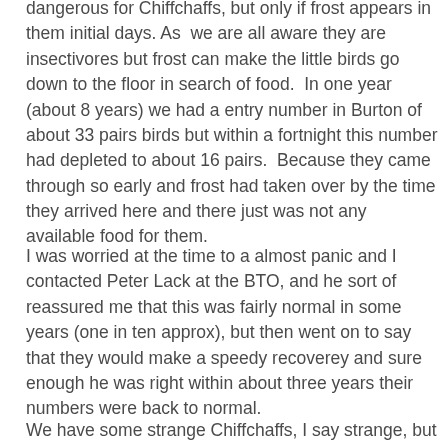dangerous for Chiffchaffs, but only if frost appears in them initial days. As we are all aware they are insectivores but frost can make the little birds go down to the floor in search of food. In one year (about 8 years) we had a entry number in Burton of about 33 pairs birds but within a fortnight this number had depleted to about 16 pairs. Because they came through so early and frost had taken over by the time they arrived here and there just was not any available food for them.
I was worried at the time to a almost panic and I contacted Peter Lack at the BTO, and he sort of reassured me that this was fairly normal in some years (one in ten approx), but then went on to say that they would make a speedy recoverey and sure enough he was right within about three years their numbers were back to normal.
We have some strange Chiffchaffs, I say strange, but